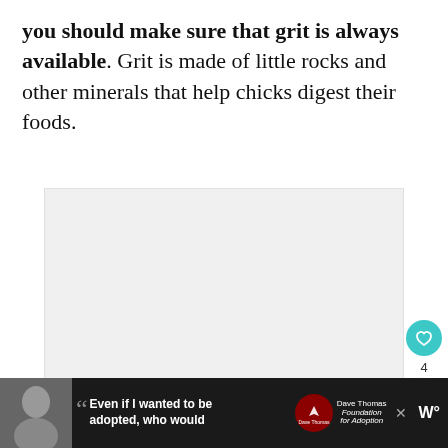you should make sure that grit is always available. Grit is made of little rocks and other minerals that help chicks digest their foods.
[Figure (photo): Large image area (blank/white placeholder) with social interaction buttons: a teal heart/like button, a count of 4, and a share button on the right side. A 'What's Next' callout showing 'Can Chickens Eat Peas?' with a green peas thumbnail appears in the lower right.]
[Figure (screenshot): Advertisement bar at the bottom in dark background: black and white photo of a woman, quotation marks, text 'Even if I wanted to be adopted, who would', Dave Thomas Foundation for Adoption logo, and a W° logo on the right.]